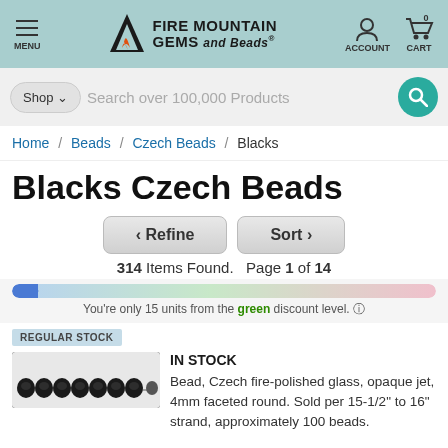[Figure (screenshot): Fire Mountain Gems and Beads website header with teal background, hamburger menu, logo, account and cart icons]
[Figure (screenshot): Search bar with Shop dropdown and search field reading 'Search over 100,000 Products' and teal search button]
Home / Beads / Czech Beads / Blacks
Blacks Czech Beads
< Refine    Sort >
314 Items Found.  Page 1 of 14
You're only 15 units from the green discount level. ?
REGULAR STOCK
IN STOCK
Bead, Czech fire-polished glass, opaque jet, 4mm faceted round. Sold per 15-1/2" to 16" strand, approximately 100 beads.
[Figure (photo): Black Czech fire-polished glass beads on a strand]